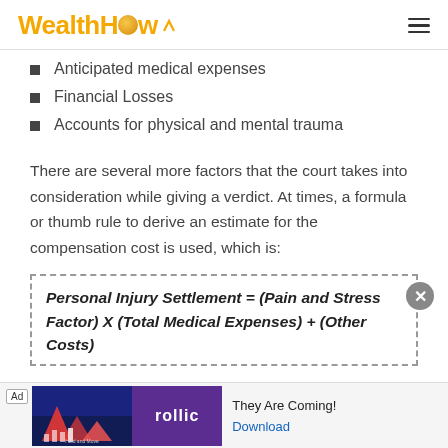WealthHow
Anticipated medical expenses
Financial Losses
Accounts for physical and mental trauma
There are several more factors that the court takes into consideration while giving a verdict. At times, a formula or thumb rule to derive an estimate for the compensation cost is used, which is:
[Figure (other): Advertisement banner for 'rollic' game app with tagline 'They Are Coming!' and a Download link]